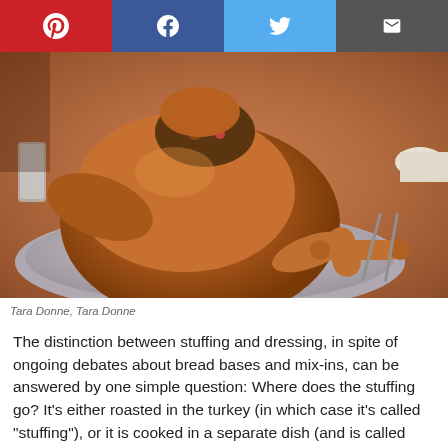[Figure (other): Social sharing bar with Pinterest, Facebook, Twitter, and email buttons]
[Figure (photo): A roasted turkey on a platter with herb garnish, stuffing visible, sage leaves, and sausages beside it. Cutlery visible to the right. Photograph by Tara Donne.]
Tara Donne, Tara Donne
The distinction between stuffing and dressing, in spite of ongoing debates about bread bases and mix-ins, can be answered by one simple question: Where does the stuffing go? It's either roasted in the turkey (in which case it's called "stuffing"), or it is cooked in a separate dish (and is called "dressing").